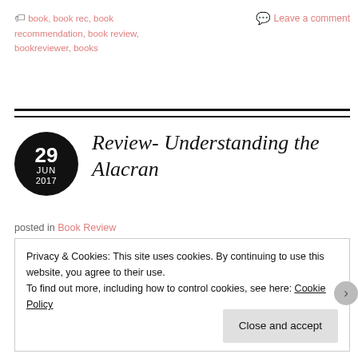book, book rec, book recommendation, book review, bookreviewer, books
Leave a comment
Review- Understanding the Alacran
posted in Book Review
Privacy & Cookies: This site uses cookies. By continuing to use this website, you agree to their use.
To find out more, including how to control cookies, see here: Cookie Policy